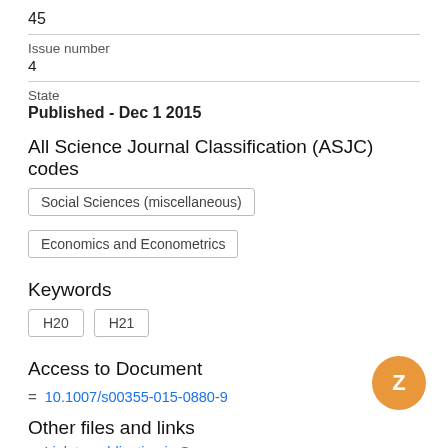45
Issue number
4
State
Published - Dec 1 2015
All Science Journal Classification (ASJC) codes
Social Sciences (miscellaneous)
Economics and Econometrics
Keywords
H20
H21
Access to Document
= 10.1007/s00355-015-0880-9
Other files and links
= Link to publication in Scopus